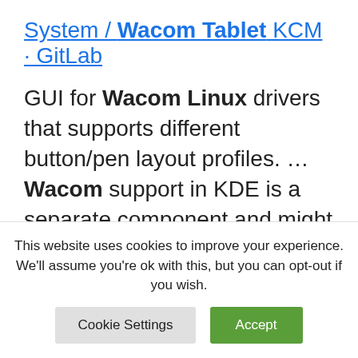System / Wacom Tablet KCM · GitLab
GUI for Wacom Linux drivers that supports different button/pen layout profiles. ... Wacom support in KDE is a separate component and might be not installed ...
Amazon WorkSpaces FAQs | Persistent Desktop Virtualization
For more detail see the bundle documentation. Q: Which software
This website uses cookies to improve your experience. We'll assume you're ok with this, but you can opt-out if you wish.